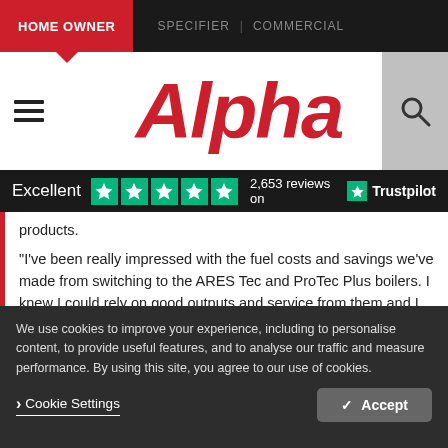HOME OWNER   SPECIFIER | COMMERCIAL
[Figure (logo): Alpha boilers logo in red italic text with hamburger menu icon on left and search icon on right]
Excellent ★★★★★ 2,653 reviews on Trustpilot
products.
"I've been really impressed with the fuel costs and savings we've made from switching to the ARES Tec and ProTec Plus boilers. I knew I could rely on good outputs and service from them and I think the
We use cookies to improve your experience, including to personalise content, to provide useful features, and to analyse our traffic and measure performance. By using this site, you agree to our use of cookies.
❯ Cookie Settings   ✓ Accept